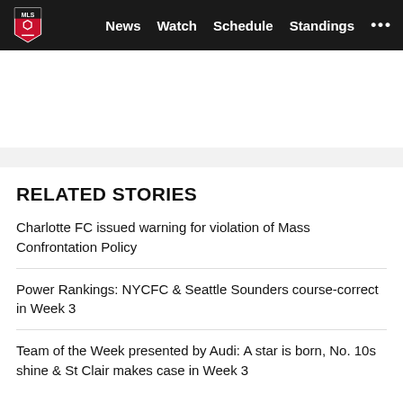MLS — News  Watch  Schedule  Standings  •••
RELATED STORIES
Charlotte FC issued warning for violation of Mass Confrontation Policy
Power Rankings: NYCFC & Seattle Sounders course-correct in Week 3
Team of the Week presented by Audi: A star is born, No. 10s shine & St Clair makes case in Week 3